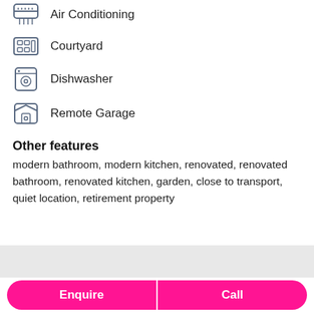Air Conditioning
Courtyard
Dishwasher
Remote Garage
Other features
modern bathroom, modern kitchen, renovated, renovated bathroom, renovated kitchen, garden, close to transport, quiet location, retirement property